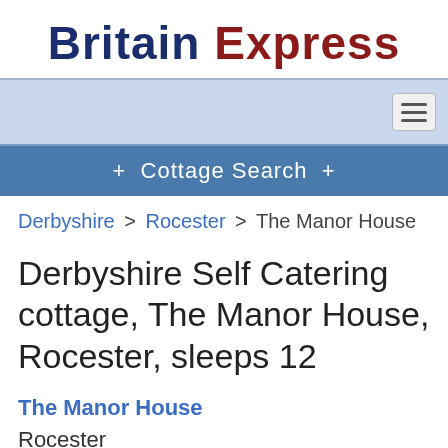Britain Express
[Figure (screenshot): Navigation bar with light blue background and hamburger menu icon on the right]
+ Cottage Search +
Derbyshire > Rocester > The Manor House
Derbyshire Self Catering cottage, The Manor House, Rocester, sleeps 12
The Manor House
Rocester
Derbyshire
England